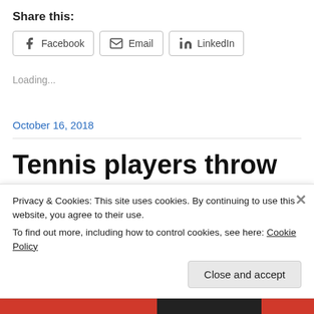Share this:
[Figure (other): Social sharing buttons: Facebook, Email, LinkedIn]
Loading...
October 16, 2018
Tennis players throw their matches when “they can’t play
Privacy & Cookies: This site uses cookies. By continuing to use this website, you agree to their use.
To find out more, including how to control cookies, see here: Cookie Policy
Close and accept